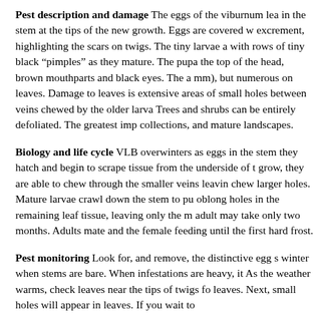Pest description and damage The eggs of the viburnum lea in the stem at the tips of the new growth. Eggs are covered w excrement, highlighting the scars on twigs. The tiny larvae a with rows of tiny black “pimples” as they mature. The pupa the top of the head, brown mouthparts and black eyes. The a mm), but numerous on leaves. Damage to leaves is extensive areas of small holes between veins chewed by the older larva Trees and shrubs can be entirely defoliated. The greatest imp collections, and mature landscapes.
Biology and life cycle VLB overwinters as eggs in the stem they hatch and begin to scrape tissue from the underside of t grow, they are able to chew through the smaller veins leavin chew larger holes. Mature larvae crawl down the stem to pu oblong holes in the remaining leaf tissue, leaving only the m adult may take only two months. Adults mate and the female feeding until the first hard frost.
Pest monitoring Look for, and remove, the distinctive egg s winter when stems are bare. When infestations are heavy, it As the weather warms, check leaves near the tips of twigs fo leaves. Next, small holes will appear in leaves. If you wait to
Management – cultural and physical